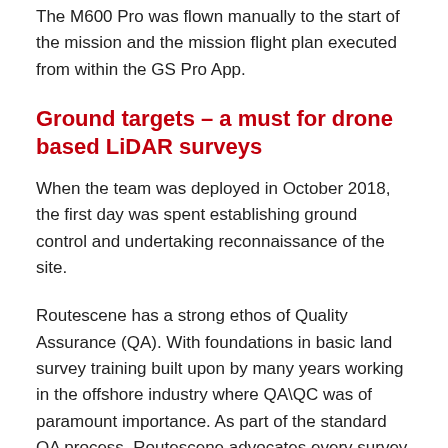The M600 Pro was flown manually to the start of the mission and the mission flight plan executed from within the GS Pro App.
Ground targets – a must for drone based LiDAR surveys
When the team was deployed in October 2018, the first day was spent establishing ground control and undertaking reconnaissance of the site.
Routescene has a strong ethos of Quality Assurance (QA). With foundations in basic land survey training built upon by many years working in the offshore industry where QA\QC was of paramount importance. As part of the standard QA process, Routescene advocates every survey has ground control established. Accurately surveying in Ground Control Points (GCP) and placing